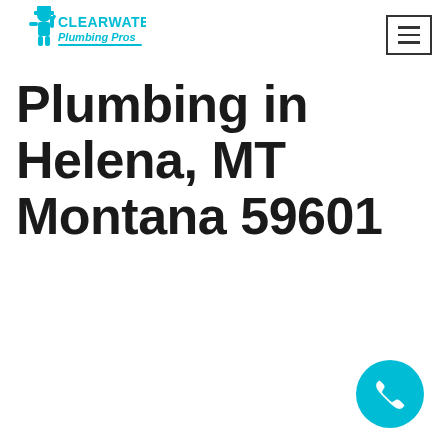[Figure (logo): Clearwater Plumbing Pros logo — blue plumber mascot figure with 'CLEARWATER Plumbing Pros' text in blue]
[Figure (other): Hamburger menu button — three horizontal lines inside a rectangular border]
Plumbing in Helena, MT Montana 59601
[Figure (other): Teal circular phone/call floating action button in bottom-right corner]